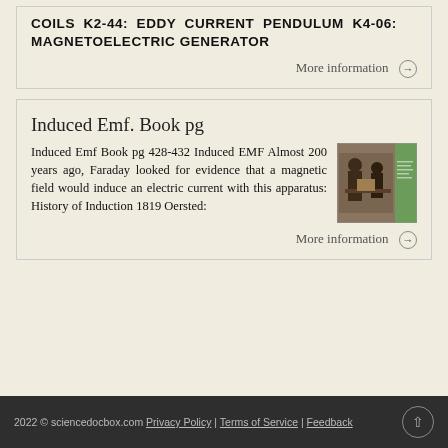COILS K2-44: EDDY CURRENT PENDULUM K4-06: MAGNETOELECTRIC GENERATOR
More information →
Induced Emf. Book pg
Induced Emf Book pg 428-432 Induced EMF Almost 200 years ago, Faraday looked for evidence that a magnetic field would induce an electric current with this apparatus: History of Induction 1819 Oersted:
[Figure (photo): Thumbnail image showing a historical scene of Faraday with apparatus, with a green book cover on the right]
More information →
2022 © sciencedocbox.com Privacy Policy | Terms of Service | Feedback